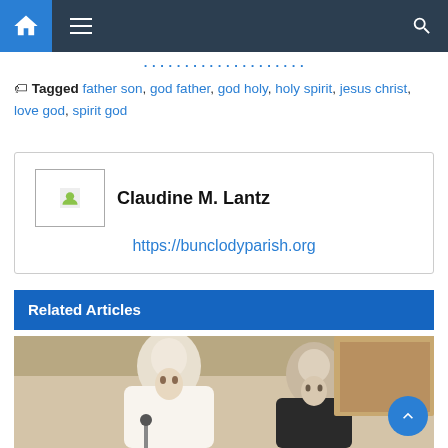Navigation bar with home, menu, and search icons
Tagged father son, god father, god holy, holy spirit, jesus christ, love god, spirit god
Claudine M. Lantz
https://bunclodyparish.org
Related Articles
[Figure (photo): Two men, one in white papal vestments (Pope Francis) and one in black clerical attire, seated at a table with a painting visible in the background]